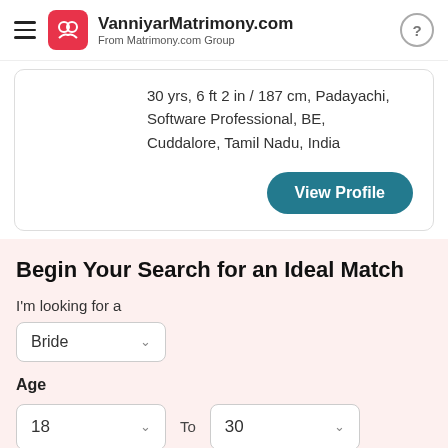VanniyarMatrimony.com — From Matrimony.com Group
30 yrs, 6 ft 2 in / 187 cm, Padayachi, Software Professional, BE, Cuddalore, Tamil Nadu, India
View Profile
Begin Your Search for an Ideal Match
I'm looking for a
Bride
Age
18  To  30